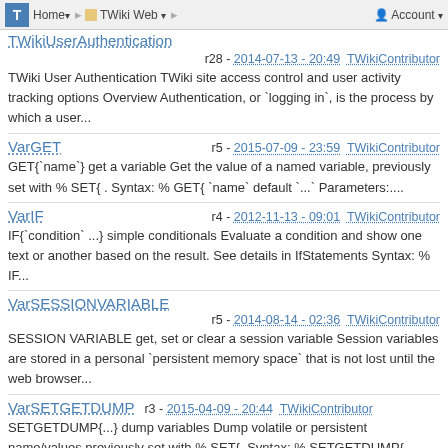T | Home ▾ | TWiki Web ▾ | Account ▾ | TWikiUserAuthentication
r28 - 2014-07-13 - 20:49 TWikiContributor
TWiki User Authentication TWiki site access control and user activity tracking options Overview Authentication, or `logging in`, is the process by which a user...
VarGET
r5 - 2015-07-09 - 23:59 TWikiContributor
GET{`name`} get a variable Get the value of a named variable, previously set with % SET{ . Syntax: % GET{ `name` default `...` Parameters:....
VarIF
r4 - 2012-11-13 - 09:01 TWikiContributor
IF{`condition` ...} simple conditionals Evaluate a condition and show one text or another based on the result. See details in IfStatements Syntax: % IF...
VarSESSIONVARIABLE
r5 - 2014-08-14 - 02:36 TWikiContributor
SESSION VARIABLE get, set or clear a session variable Session variables are stored in a personal `persistent memory space` that is not lost until the web browser...
VarSETGETDUMP
r3 - 2015-04-09 - 20:44 TWikiContributor
SETGETDUMP{...} dump variables Dump volatile or persistent name/values previously set with % SET{. Syntax: % SETGETDUMP{